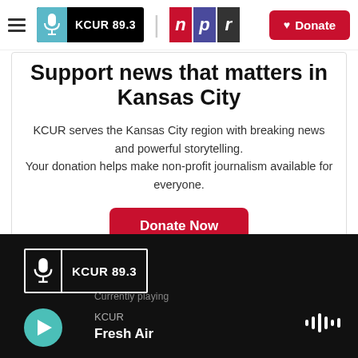≡ KCUR 89.3 | npr ♥ Donate
Support news that matters in Kansas City
KCUR serves the Kansas City region with breaking news and powerful storytelling. Your donation helps make non-profit journalism available for everyone.
Donate Now
[Figure (logo): KCUR 89.3 logo in white on black background with border]
KCUR
Fresh Air